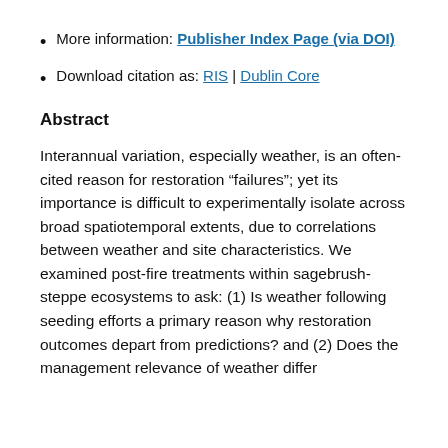More information: Publisher Index Page (via DOI)
Download citation as: RIS | Dublin Core
Abstract
Interannual variation, especially weather, is an often-cited reason for restoration “failures”; yet its importance is difficult to experimentally isolate across broad spatiotemporal extents, due to correlations between weather and site characteristics. We examined post-fire treatments within sagebrush-steppe ecosystems to ask: (1) Is weather following seeding efforts a primary reason why restoration outcomes depart from predictions? and (2) Does the management relevance of weather differ